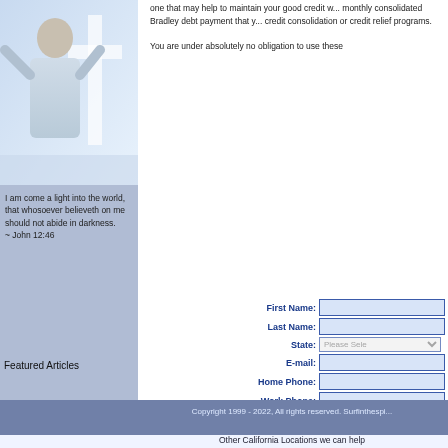[Figure (photo): Photo of a person with arms raised joyfully, white cross visible in background, light blue/white tones]
I am come a light into the world, that whosoever believeth on me should not abide in darkness.
~ John 12:46
Featured Articles
one that may help to maintain your good credit w... monthly consolidated Bradley debt payment that y... credit consolidation or credit relief programs.

You are under absolutely no obligation to use these
| Field | Value |
| --- | --- |
| First Name: |  |
| Last Name: |  |
| State: | Please Sele... |
| E-mail: |  |
| Home Phone: |  |
| Work Phone: |  |
| Unsecured Debt: | Please Sele... |
| Payments are? | Up-to-date |
| Best To Call: | Anytime |
|  | Submit Appl... |
Copyright 1999 - 2022, All rights reserved. Surfinthespi...
Other California Locations we can help